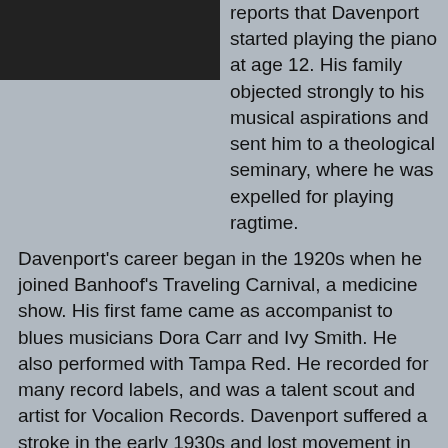[Figure (photo): Black and white photograph of a person, cropped at the top of the page]
reports that Davenport started playing the piano at age 12. His family objected strongly to his musical aspirations and sent him to a theological seminary, where he was expelled for playing ragtime.
Davenport's career began in the 1920s when he joined Banhoof's Traveling Carnival, a medicine show. His first fame came as accompanist to blues musicians Dora Carr and Ivy Smith. He also performed with Tampa Red. He recorded for many record labels, and was a talent scout and artist for Vocalion Records. Davenport suffered a stroke in the early 1930s and lost movement in his hands. He was washing dishes when he was found by the jazz pianist Art Hodes in 1938. Hodes assisted in his rehabilitation and helped him find new recording contracts.
His best-known tune was "Cow Cow Blues". In 1953, "Cow Cow Blues" was an influence on the Ahmet Ertegün-written "Mess Around" by Ray Charles' which was Charles' first step away from his Nat "King" Cole-esque style, and into the style he would employ throughout the 1950s for Atlantic Records.